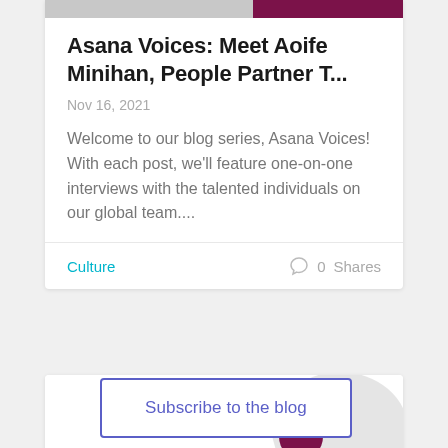[Figure (photo): Top image strip cropped at top of page showing gray and dark magenta/maroon colors]
Asana Voices: Meet Aoife Minihan, People Partner T...
Nov 16, 2021
Welcome to our blog series, Asana Voices! With each post, we'll feature one-on-one interviews with the talented individuals on our global team....
Culture
0  Shares
[Figure (illustration): Partial second blog card showing decorative blob shapes in gray and dark maroon]
Subscribe to the blog